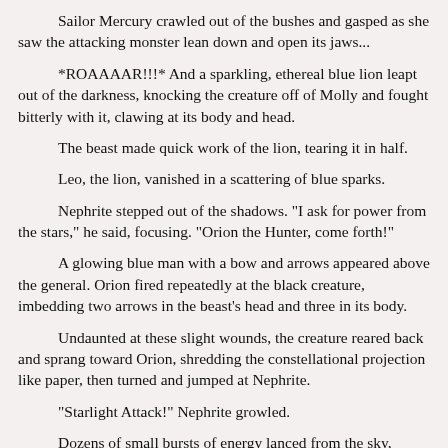Sailor Mercury crawled out of the bushes and gasped as she saw the attacking monster lean down and open its jaws...
*ROAAAAR!!!* And a sparkling, ethereal blue lion leapt out of the darkness, knocking the creature off of Molly and fought bitterly with it, clawing at its body and head.
The beast made quick work of the lion, tearing it in half.
Leo, the lion, vanished in a scattering of blue sparks.
Nephrite stepped out of the shadows. "I ask for power from the stars," he said, focusing. "Orion the Hunter, come forth!"
A glowing blue man with a bow and arrows appeared above the general. Orion fired repeatedly at the black creature, imbedding two arrows in the beast's head and three in its body.
Undaunted at these slight wounds, the creature reared back and sprang toward Orion, shredding the constellational projection like paper, then turned and jumped at Nephrite.
"Starlight Attack!" Nephrite growled.
Dozens of small bursts of energy lanced from the sky, knocking